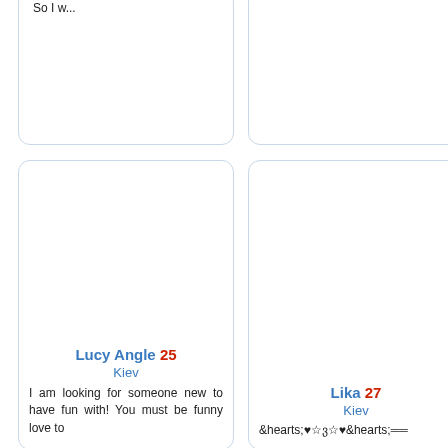So I w...
Lucy Angle 25
Kiev
I am looking for someone new to have fun with! You must be funny love to
Lika 27
Kiev
&hearts;♥☆ვ☆♥&hearts;